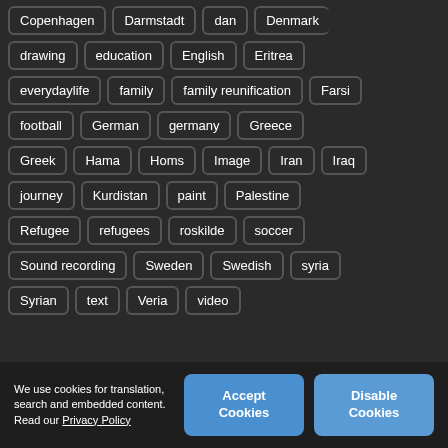Copenhagen | Darmstadt | dan | Denmark
drawing | education | English | Eritrea
everydaylife | family | family reunification | Farsi
football | German | germany | Greece
Greek | Hama | Homs | Image | Iran | Iraq
journey | Kurdistan | paint | Palestine
Refugee | refugees | roskilde | soccer
Sound recording | Sweden | Swedish | syria
Syrian | text | Veria | video
We use cookies for translation, search and embedded content. Read our Privacy Policy
Accept Cookies
Disable Cookies